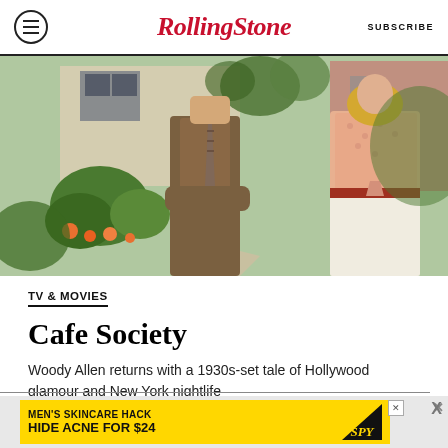Rolling Stone | SUBSCRIBE
[Figure (photo): Film still from Cafe Society showing two actors standing outdoors in front of a garden and house — a man in a brown tweed suit with a striped tie and a woman in a peach/pink blouse with a white skirt with red belt]
TV & MOVIES
Cafe Society
Woody Allen returns with a 1930s-set tale of Hollywood glamour and New York nightlife
[Figure (screenshot): Advertisement banner: MEN'S SKINCARE HACK HIDE ACNE FOR $24 with SPY logo on yellow background]